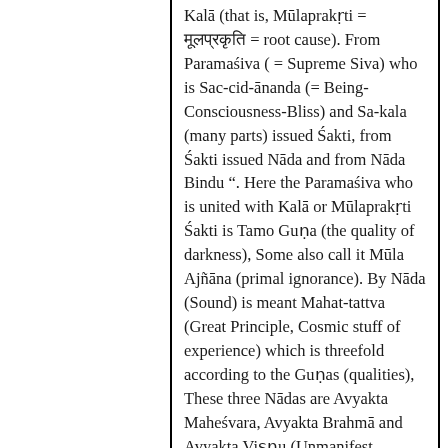Kalā (that is, Mūlaprakṛti = मूलप्रकृति = root cause). From Paramaśiva ( = Supreme Siva) who is Sac-cid-ānanda (= Being-Consciousness-Bliss) and Sa-kala (many parts) issued Śakti, from Śakti issued Nāda and from Nāda Bindu ". Here the Paramaśiva who is united with Kalā or Mūlaprakṛti Śakti is Tamo Guṇa (the quality of darkness), Some also call it Mūla Ajñāna (primal ignorance). By Nāda (Sound) is meant Mahat-tattva (Great Principle, Cosmic stuff of experience) which is threefold according to the Guṇas (qualities), These three Nādas are Avyakta Maheśvara, Avyakta Brahmā and Avyakta Viṣṇu (Unmanifest Mahesvara, Brahma and Vishnu). --P68 The Worship of Sakti, The Great Liberation by Woodroffe.